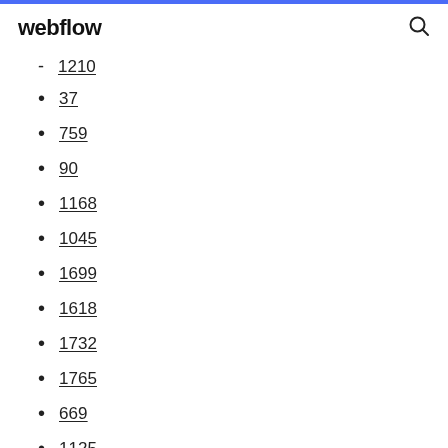webflow
1210
37
759
90
1168
1045
1699
1618
1732
1765
669
1125
1527